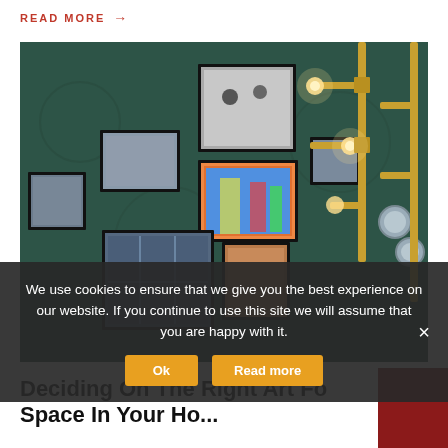READ MORE →
[Figure (photo): Gallery wall with multiple framed artworks and industrial pipe lighting fixtures on a dark green wall]
We use cookies to ensure that we give you the best experience on our website. If you continue to use this site we will assume that you are happy with it.
Deciding On The Right Art For Space In Your Ho...